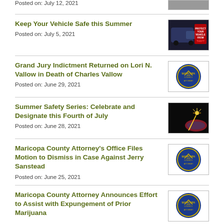Posted on: July 12, 2021
Keep Your Vehicle Safe this Summer
Posted on: July 5, 2021
[Figure (photo): Person near a vehicle with text: PROTECT YOUR VEHICLE FROM THEFT]
Grand Jury Indictment Returned on Lori N. Vallow in Death of Charles Vallow
Posted on: June 29, 2021
[Figure (logo): Maricopa County Attorney's Office seal/badge]
Summer Safety Series: Celebrate and Designate this Fourth of July
Posted on: June 28, 2021
[Figure (photo): Fireworks sparkler with American flag background]
Maricopa County Attorney’s Office Files Motion to Dismiss in Case Against Jerry Sanstead
Posted on: June 25, 2021
[Figure (logo): Maricopa County Attorney's Office seal/badge]
Maricopa County Attorney Announces Effort to Assist with Expungement of Prior Marijuana